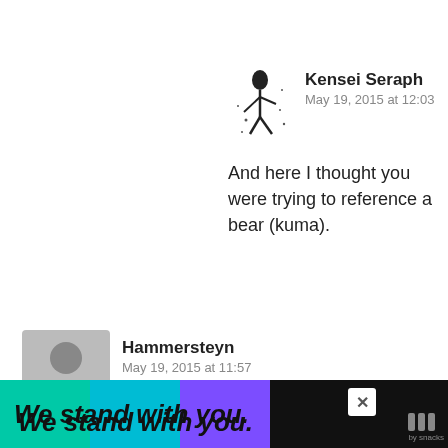[Figure (illustration): Small ink-style avatar illustration of a figure, top-right comment area]
Kensei Seraph
May 19, 2015 at 12:03
And here I thought you were trying to reference a bear (kuma).
[Figure (illustration): Generic gray silhouette avatar for Hammersteyn]
Hammersteyn
May 19, 2015 at 11:57
Great Review boet, saw you were playing last night XD
Reply
[Figure (illustration): Small ink-style avatar for kuuu(UMAR)rrrr]
kuuu(UMAR)rrrr
May 19, 2015 at 11:58
[Figure (screenshot): WHAT'S NEXT arrow, Life is Strange Episode 2: ... thumbnail]
We stand with you.